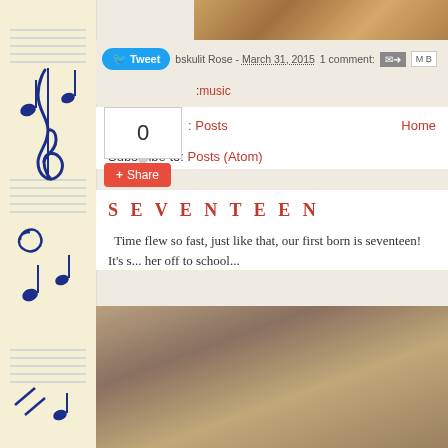[Figure (photo): Top image of violin/instrument, cropped]
bskulit Rose - March 31, 2015   1 comment:
music
0
Posts   Home
Subscribe to: Posts (Atom)
S E V E N T E E N
Time flew so fast, just like that, our first born is seventeen!  It's s... her off to school...
[Figure (photo): Bottom blurred/muted brown photo]